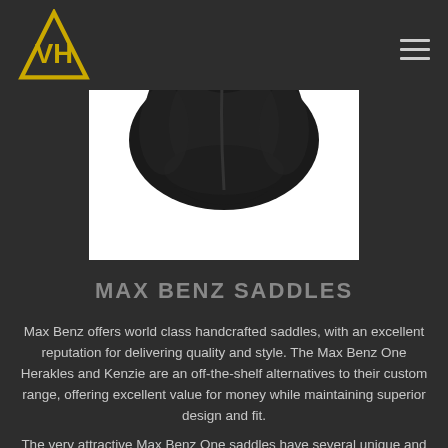VH logo and navigation menu
[Figure (photo): Close-up top-down view of a black Max Benz saddle against a white background]
MAX BENZ SADDLES
Max Benz offers world class handcrafted saddles, with an excellent reputation for delivering quality and style. The Max Benz One Herakles and Kenzie are an off-the-shelf alternatives to their custom range, offering excellent value for money while maintaining superior design and fit.
The very attractive Max Benz One saddles have several unique and innovative features including a tree that is slightly longitudinally flexible, allowing movement to flow across the saddle. With changeable gullets and at only